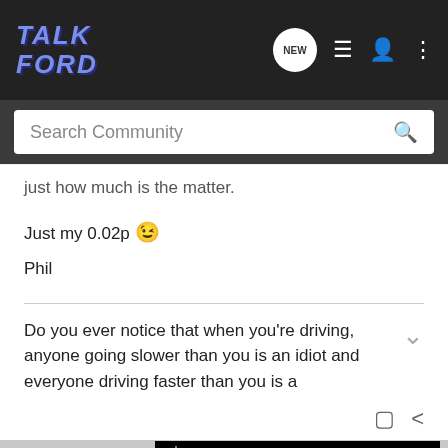TalkFord - Search Community navigation bar
just how much is the matter.
Just my 0.02p 😉
Phil
Do you ever notice that when you're driving, anyone going slower than you is an idiot and everyone driving faster than you is a
[Figure (screenshot): Advertisement banner showing WWW.AU-AV.COM text on a dark starry background]